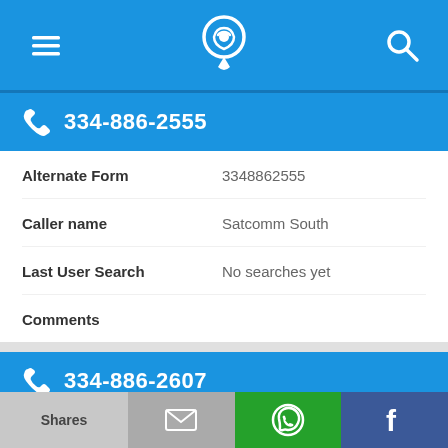Navigation bar with menu, phone locator, and search icons
334-886-2555
| Field | Value |
| --- | --- |
| Alternate Form | 3348862555 |
| Caller name | Satcomm South |
| Last User Search | No searches yet |
| Comments |  |
334-886-2607
Shares | Email | WhatsApp | Facebook